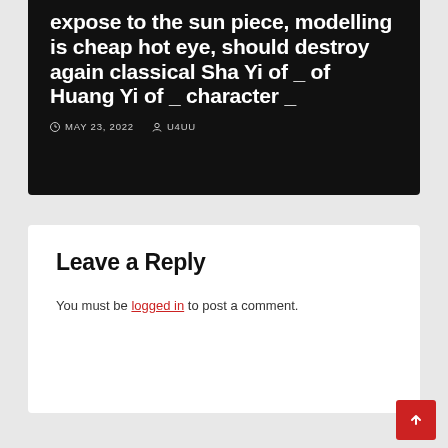expose to the sun piece, modelling is cheap hot eye, should destroy again classical Sha Yi of _ of Huang Yi of _ character _
MAY 23, 2022  U4UU
Leave a Reply
You must be logged in to post a comment.